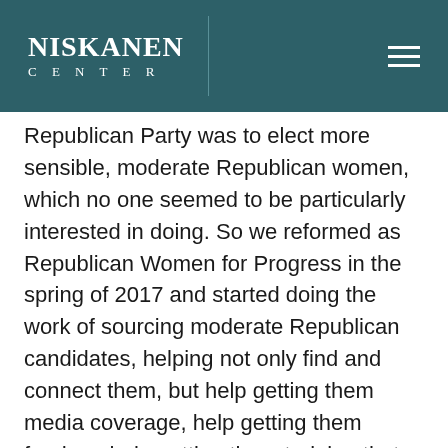NISKANEN CENTER
Republican Party was to elect more sensible, moderate Republican women, which no one seemed to be particularly interested in doing. So we reformed as Republican Women for Progress in the spring of 2017 and started doing the work of sourcing moderate Republican candidates, helping not only find and connect them, but help getting them media coverage, help getting them funders, help getting them training that they needed to be more sophisticated candidates. And then also helping them to push back when they were getting any sort of friction from their local GOP chapters or their state chapters, and really kind of forcing our way to the table, which I think was a space that hadn't